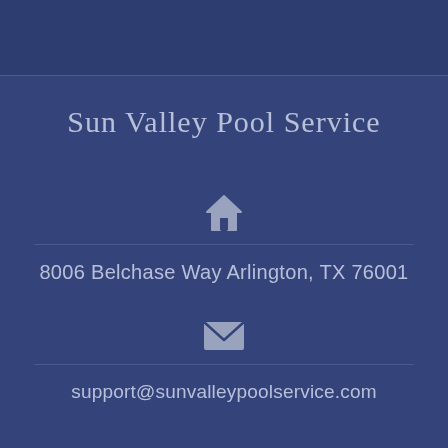Sun Valley Pool Service
[Figure (illustration): Home/house icon in light gray-blue color]
8006 Belchase Way Arlington, TX 76001
[Figure (illustration): Envelope/email icon in light gray-blue color]
support@sunvalleypoolservice.com